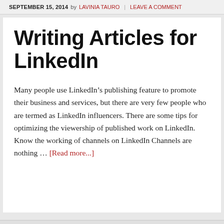SEPTEMBER 15, 2014 by LAVINIA TAURO | LEAVE A COMMENT
Writing Articles for LinkedIn
Many people use LinkedIn’s publishing feature to promote their business and services, but there are very few people who are termed as LinkedIn influencers. There are some tips for optimizing the viewership of published work on LinkedIn. Know the working of channels on LinkedIn Channels are nothing … [Read more...]